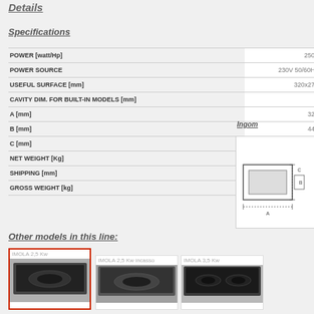Details
Specifications
| Specification | Value |
| --- | --- |
| POWER  [watt/Hp] | 2500 |
| POWER SOURCE | 230V 50/60Hz |
| USEFUL SURFACE  [mm] | 320x270 |
| CAVITY DIM. FOR BUILT-IN MODELS  [mm] | - |
| A  [mm] | 320 |
| B  [mm] | 440 |
| C  [mm] | 115 |
| NET WEIGHT  [Kg] | 7,5 |
| SHIPPING  [mm] | 500x370x180 |
| GROSS WEIGHT  [kg] | 9,5 |
Other models in this line:
[Figure (photo): IMOLA 2,5 Kw product image (selected, red border)]
[Figure (photo): IMOLA 2,5 Kw incasso product image]
[Figure (photo): IMOLA 3,5 Kw product image]
[Figure (engineering-diagram): Ingombri dimension diagram showing product dimensions A, B, C]